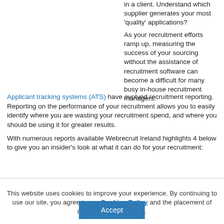in a client. Understand which supplier generates your most 'quality' applications?
As your recruitment efforts ramp up, measuring the success of your sourcing without the assistance of recruitment software can become a difficult for many busy in-house recruitment managers.
Applicant tracking systems (ATS) have evolved recruitment reporting. Reporting on the performance of your recruitment allows you to easily identify where you are wasting your recruitment spend, and where you should be using it for greater results.
With numerous reports available Webrecruit Ireland highlights 4 below to give you an insider's look at what it can do for your recruitment:
This website uses cookies to improve your experience. By continuing to use our site, you agree to our Cookies Policy and the placement of cookies on your device.